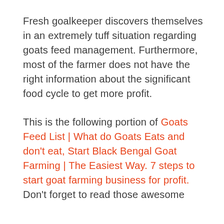Fresh goalkeeper discovers themselves in an extremely tuff situation regarding goats feed management. Furthermore, most of the farmer does not have the right information about the significant food cycle to get more profit.
This is the following portion of Goats Feed List | What do Goats Eats and don’t eat, Start Black Bengal Goat Farming | The Easiest Way. 7 steps to start goat farming business for profit.  Don’t forget to read those awesome